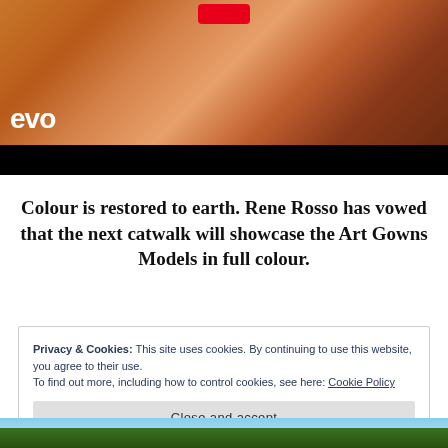[Figure (screenshot): Video thumbnail with warm orange/brown tones, 'evo' logo text in white at bottom left, red button at top center, black bar at bottom]
Colour is restored to earth. Rene Rosso has vowed that the next catwalk will showcase the Art Gowns Models in full colour.
Privacy & Cookies: This site uses cookies. By continuing to use this website, you agree to their use.
To find out more, including how to control cookies, see here: Cookie Policy
Close and accept
[Figure (photo): Partial photo of outdoor scene with trees and sky at bottom of page]